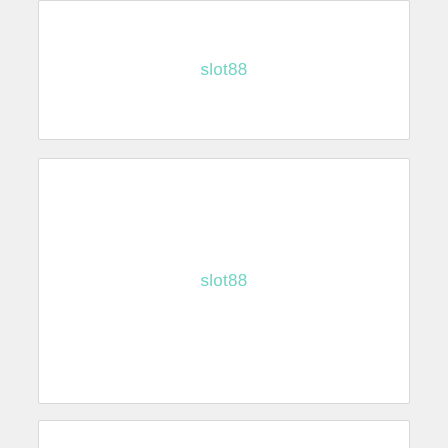[Figure (other): Card with centered teal text 'slot88']
[Figure (other): Card with centered teal text 'slot88']
[Figure (other): Card with centered teal text 'situs slot777']
[Figure (other): Card with centered teal text 'Star77']